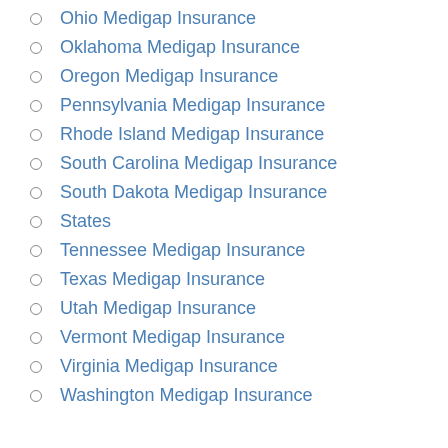Ohio Medigap Insurance
Oklahoma Medigap Insurance
Oregon Medigap Insurance
Pennsylvania Medigap Insurance
Rhode Island Medigap Insurance
South Carolina Medigap Insurance
South Dakota Medigap Insurance
States
Tennessee Medigap Insurance
Texas Medigap Insurance
Utah Medigap Insurance
Vermont Medigap Insurance
Virginia Medigap Insurance
Washington Medigap Insurance